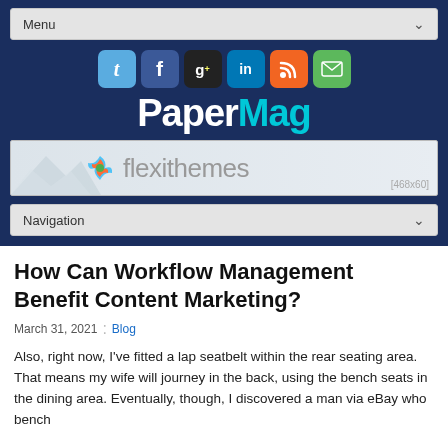Menu
[Figure (logo): PaperMag website logo with social media icons (Twitter, Facebook, Google+, LinkedIn, RSS, Email) above the PaperMag wordmark in white and cyan on dark blue background]
[Figure (infographic): Flexithemes advertisement banner 468x60]
Navigation
How Can Workflow Management Benefit Content Marketing?
March 31, 2021  Blog
Also, right now, I've fitted a lap seatbelt within the rear seating area. That means my wife will journey in the back, using the bench seats in the dining area. Eventually, though, I discovered a man via eBay who bench